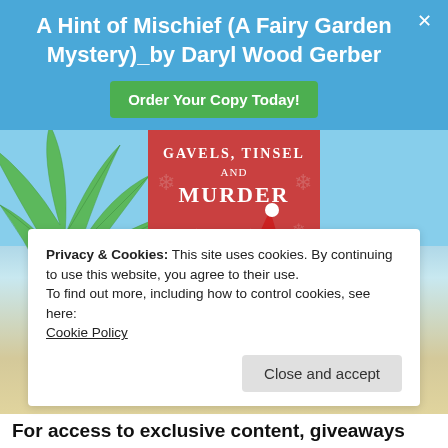A Hint of Mischief (A Fairy Garden Mystery)_by Daryl Wood Gerber
Order Your Copy Today!
[Figure (illustration): Book cover for 'Gavels, Tinsel and Murder' showing a British flag on a pole, a gray cat wearing a Santa hat, red poinsettia flowers, and snowflake decorations on a red background]
Privacy & Cookies: This site uses cookies. By continuing to use this website, you agree to their use.
To find out more, including how to control cookies, see here:
Cookie Policy
Close and accept
For access to exclusive content, giveaways